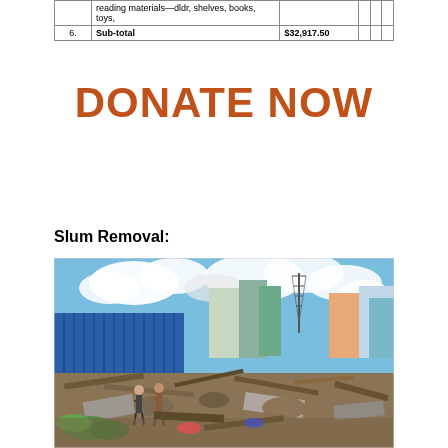|  | Description | Amount |  |  |  |
| --- | --- | --- | --- | --- | --- |
|  | reading materials—dldr, shelves, books, toys, |  |  |  |  |
| 6. | Sub-total | $32,917.50 |  |  |  |
DONATE NOW
Slum Removal:
[Figure (photo): Photograph of a slum demolition/removal site showing rubble, debris, destroyed structures, people standing amid wreckage, blue corrugated metal fence in background, buildings and a radio tower visible in the distance under a partly cloudy sky.]